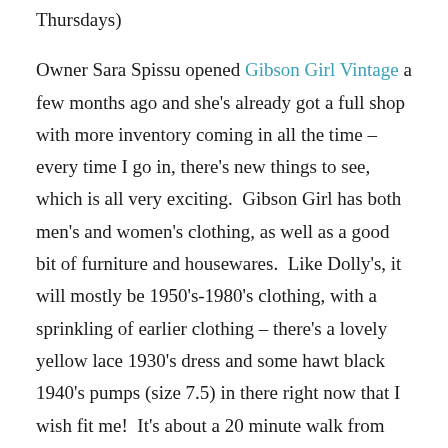Thursdays)

Owner Sara Spissu opened Gibson Girl Vintage a few months ago and she's already got a full shop with more inventory coming in all the time – every time I go in, there's new things to see, which is all very exciting.  Gibson Girl has both men's and women's clothing, as well as a good bit of furniture and housewares.  Like Dolly's, it will mostly be 1950's-1980's clothing, with a sprinkling of earlier clothing – there's a lovely yellow lace 1930's dress and some hawt black 1940's pumps (size 7.5) in there right now that I wish fit me!  It's about a 20 minute walk from the Durham Armory – if you decide to take that hike, there are some other great things within this block of the city, like the Durham Co-op Market, Grub (a yummy restaurant), and a Joe Van-